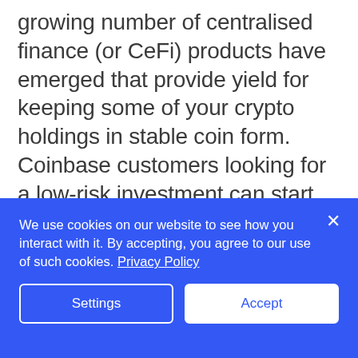growing number of centralised finance (or CeFi) products have emerged that provide yield for keeping some of your crypto holdings in stable coin form. Coinbase customers looking for a low-risk investment can start earning 4.00% APY via USDC -USD Coin is fully backed by cash and equivalents and short-duration U.S. Treasuries, so that it is always redeemable 1:1 for U.S. dollars-. While crypto deposits aren't currently eligible for any regulator's insurance, all USDC held in your Coinbase account is guaranteed by Coinbase.
We use cookies on our website to see how you interact with it. By accepting, you agree to our use of such cookies. Privacy Policy